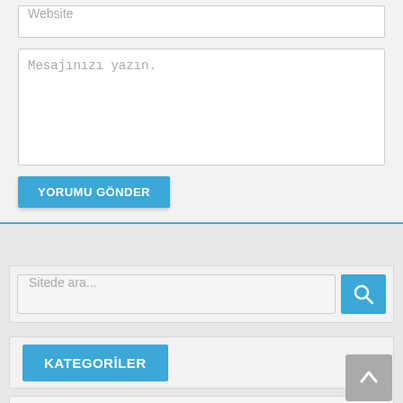Website
Mesajınızı yazın.
YORUMU GÖNDER
Sitede ara...
KATEGORİLER
ŞARKI SÖZLERİ
YENİ ALBÜMLER